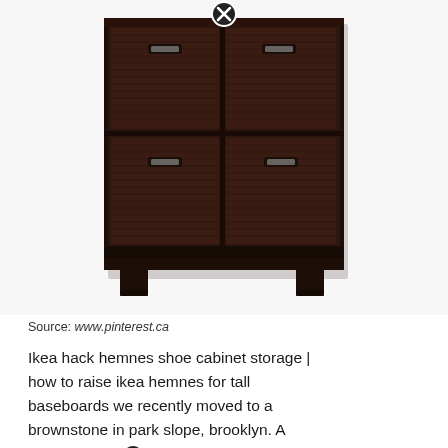[Figure (photo): Dark brown/black IKEA Hemnes shoe cabinet with 4 flip-down doors arranged in a 2x2 grid, with metal handles, sitting on short legs. A circular close/remove button (black circle with white X) appears at the top center of the image.]
Source: www.pinterest.ca
Ikea hack hemnes shoe cabinet storage | how to raise ikea hemnes for tall baseboards we recently moved to a brownstone in park slope, brooklyn. A stylish modern ikea hemnes cabinet hack